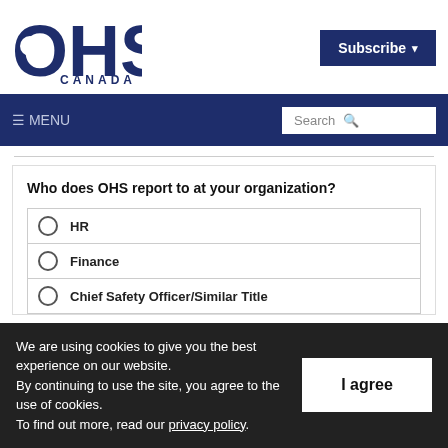OHS CANADA
Subscribe ▾
≡ MENU | Search
Who does OHS report to at your organization?
HR
Finance
Chief Safety Officer/Similar Title
We are using cookies to give you the best experience on our website. By continuing to use the site, you agree to the use of cookies. To find out more, read our privacy policy.
I agree